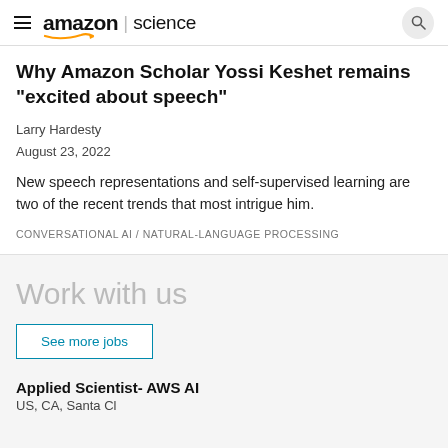amazon | science
Why Amazon Scholar Yossi Keshet remains "excited about speech"
Larry Hardesty
August 23, 2022
New speech representations and self-supervised learning are two of the recent trends that most intrigue him.
CONVERSATIONAL AI / NATURAL-LANGUAGE PROCESSING
Work with us
See more jobs
Applied Scientist- AWS AI
US, CA, Santa Clara